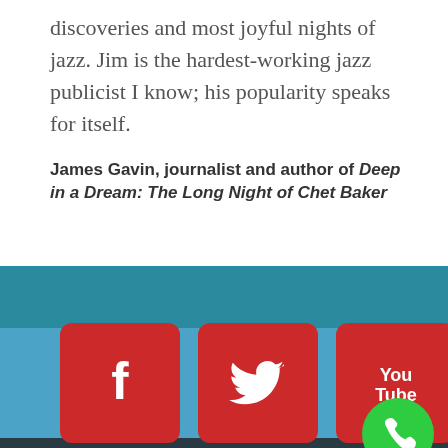discoveries and most joyful nights of jazz. Jim is the hardest-working jazz publicist I know; his popularity speaks for itself.
James Gavin, journalist and author of Deep in a Dream: The Long Night of Chet Baker
[Figure (infographic): Footer with teal and blue bands containing four red social media icon buttons (Facebook, Twitter, YouTube, RSS) and a green phone button]